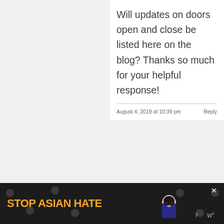Will updates on doors open and close be listed here on the blog? Thanks so much for your helpful response!
August 4, 2019 at 10:39 pm   Reply
[Figure (other): Pink heart icon floating action button]
[Figure (other): Share icon floating action button]
WHAT'S NEXT → What's New at Disneyland...
[Figure (photo): Circular thumbnail image of Disneyland castle]
Jessica Sanders
Yes, for sure! Those
[Figure (other): Dark blue scroll-to-top button with up arrow]
[Figure (other): Advertisement banner: STOP ASIAN HATE with illustrated character and flower pattern on dark background]